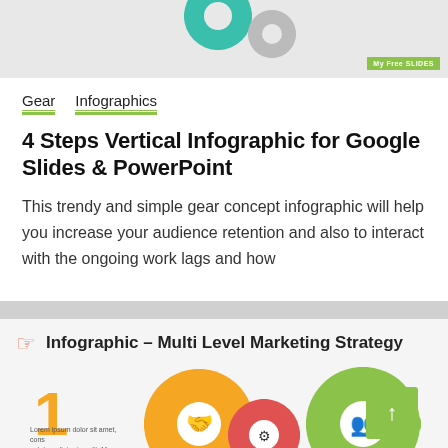[Figure (illustration): Top banner with gray background showing teal and gray gear icons and a green logo badge reading 'My Free SLIDES']
Gear   Infographics
4 Steps Vertical Infographic for Google Slides & PowerPoint
This trendy and simple gear concept infographic will help you increase your audience retention and also to interact with the ongoing work lags and how
[Figure (infographic): Bottom preview section showing 'Infographic – Multi Level Marketing Strategy' with a hand-pointing icon, large orange '1', interlocking yellow, red, and green gear icons with business icons inside, and a green arrow-up button on the right. Small Lorem ipsum text at bottom left.]